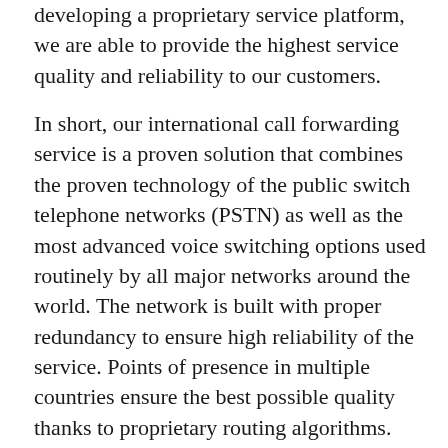developing a proprietary service platform, we are able to provide the highest service quality and reliability to our customers.
In short, our international call forwarding service is a proven solution that combines the proven technology of the public switch telephone networks (PSTN) as well as the most advanced voice switching options used routinely by all major networks around the world. The network is built with proper redundancy to ensure high reliability of the service. Points of presence in multiple countries ensure the best possible quality thanks to proprietary routing algorithms.
There's a good reason some of our customers rely on our services for close to a quarter century. You can expect excellent audio quality.